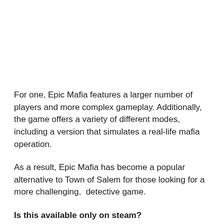For one, Epic Mafia features a larger number of players and more complex gameplay. Additionally, the game offers a variety of different modes, including a version that simulates a real-life mafia operation.
As a result, Epic Mafia has become a popular alternative to Town of Salem for those looking for a more challenging,  detective game.
Is this available only on steam?